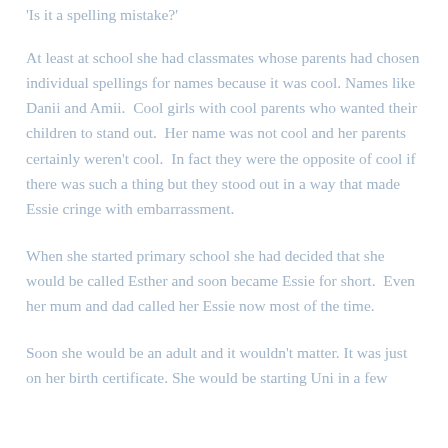'Is it a spelling mistake?'
At least at school she had classmates whose parents had chosen individual spellings for names because it was cool. Names like Danii and Amii.  Cool girls with cool parents who wanted their children to stand out.  Her name was not cool and her parents certainly weren't cool.  In fact they were the opposite of cool if there was such a thing but they stood out in a way that made Essie cringe with embarrassment.
When she started primary school she had decided that she would be called Esther and soon became Essie for short.  Even her mum and dad called her Essie now most of the time.
Soon she would be an adult and it wouldn't matter. It was just on her birth certificate. She would be starting Uni in a few